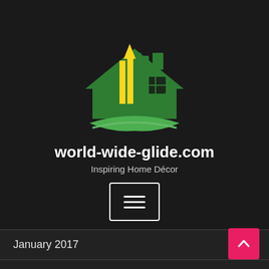[Figure (logo): World-wide-glide.com home decor logo: a green house silhouette with vertical yellow and green stripes forming an upward arrow, with a green swoosh/wave beneath]
world-wide-glide.com
Inspiring Home Décor
[Figure (other): Hamburger menu button: three horizontal white lines inside a white-bordered rectangle]
January 2017
December 2016
November 2016
October 2016